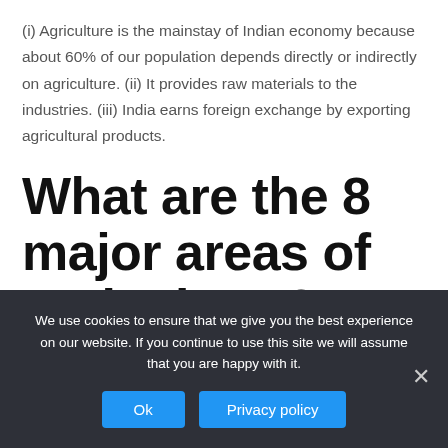(i) Agriculture is the mainstay of Indian economy because about 60% of our population depends directly or indirectly on agriculture. (ii) It provides raw materials to the industries. (iii) India earns foreign exchange by exporting agricultural products.
What are the 8 major areas of agriculture?
We use cookies to ensure that we give you the best experience on our website. If you continue to use this site we will assume that you are happy with it.